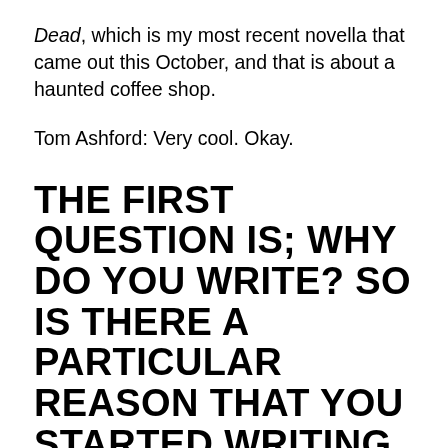Dead, which is my most recent novella that came out this October, and that is about a haunted coffee shop.
Tom Ashford: Very cool. Okay.
THE FIRST QUESTION IS; WHY DO YOU WRITE? SO IS THERE A PARTICULAR REASON THAT YOU STARTED WRITING IN THE FIRST PLACE?
Sandy Lo: I always had a really big imagination as a kid, and I used to love to play Barbie dolls